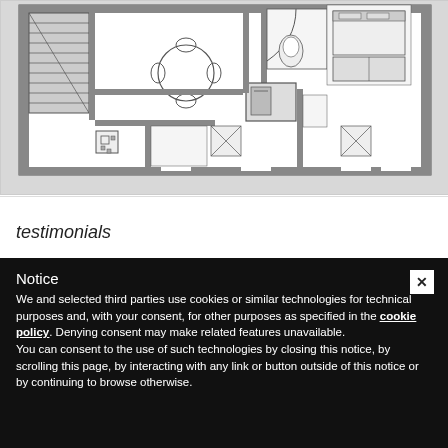[Figure (engineering-diagram): Architectural floor plan showing multiple rooms including living area with round table and chairs, kitchen with appliances, bathroom, bedroom, and staircase. Rooms are shown with furniture symbols, doors, and windows in standard architectural drawing style.]
testimonials
Notice
We and selected third parties use cookies or similar technologies for technical purposes and, with your consent, for other purposes as specified in the cookie policy. Denying consent may make related features unavailable.
You can consent to the use of such technologies by closing this notice, by scrolling this page, by interacting with any link or button outside of this notice or by continuing to browse otherwise.